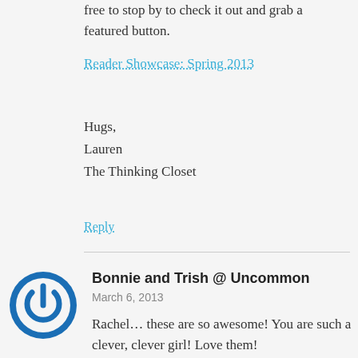free to stop by to check it out and grab a featured button.
Reader Showcase: Spring 2013
Hugs,
Lauren
The Thinking Closet
Reply
Bonnie and Trish @ Uncommon
March 6, 2013
Rachel… these are so awesome! You are such a clever, clever girl! Love them!

Take care,

Trish